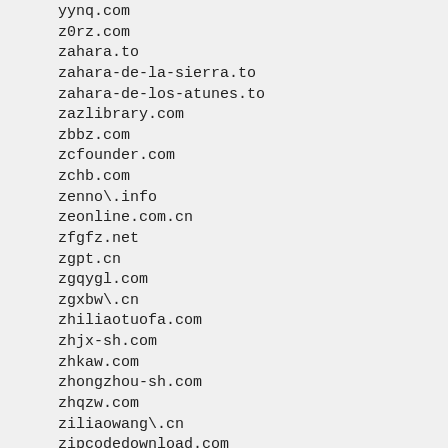yynq.com
z0rz.com
zahara.to
zahara-de-la-sierra.to
zahara-de-los-atunes.to
zazlibrary.com
zbbz.com
zcfounder.com
zchb.com
zenno\.info
zeonline.com.cn
zfgfz.net
zgpt.cn
zgqygl.com
zgxbw\.cn
zhiliaotuofa.com
zhjx-sh.com
zhkaw.com
zhongzhou-sh.com
zhqzw.com
ziliaowang\.cn
zipcodedownload.com
zipcodesmap.com
zithromax-online.net
zjww\.com
znpp.com